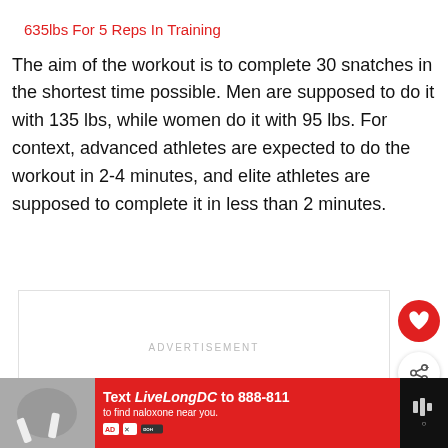635lbs For 5 Reps In Training
The aim of the workout is to complete 30 snatches in the shortest time possible. Men are supposed to do it with 135 lbs, while women do it with 95 lbs. For context, advanced athletes are expected to do the workout in 2-4 minutes, and elite athletes are supposed to complete it in less than 2 minutes.
[Figure (other): Advertisement placeholder box with text ADVERTISEMENT]
[Figure (other): Heart/like button (red circle with heart icon) and share button (white circle with share icon)]
[Figure (other): WHAT'S NEXT section with thumbnail and text: Strongman Eddie Hall...]
[Figure (other): Bottom advertisement banner: Text LiveLongDC to 888-811 to find naloxone near you.]